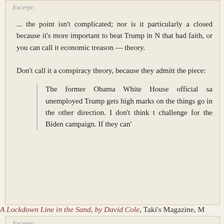Excerpt:
... the point isn't complicated; nor is it particularly a closed because it's more important to beat Trump in N that bad faith, or you can call it economic treason — theory.
Don't call it a conspiracy theory, because they admitt the piece:
The former Obama White House official sa unemployed Trump gets high marks on the things go in the other direction. I don't think t challenge for the Biden campaign. If they can'
A Lockdown Line in the Sand, by David Cole, Taki's Magazine, M
Excerpt:
And if you think I'm comparing the lockdowns to the H